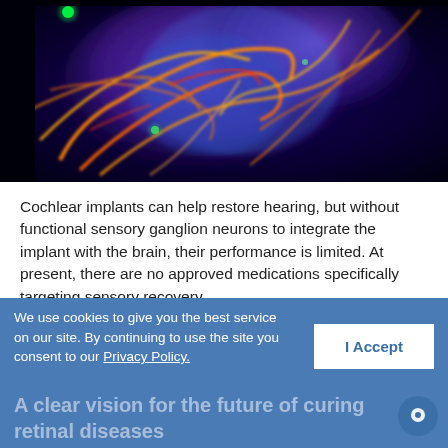[Figure (photo): Fluorescence microscopy image of neural tissue showing colorful neurons with red, orange, yellow, green and blue/purple staining against a black background. Appears to show sensory ganglion neurons.]
Cochlear implants can help restore hearing, but without functional sensory ganglion neurons to integrate the implant with the brain, their performance is limited. At present, there are no approved medications specifically targeting sensory recovery.
Read More
We use cookies to give you the best service on our site. By continuing to use the site you consent to our Privacy Policy.
I Accept
A clear vision for the future of curing retinal diseases